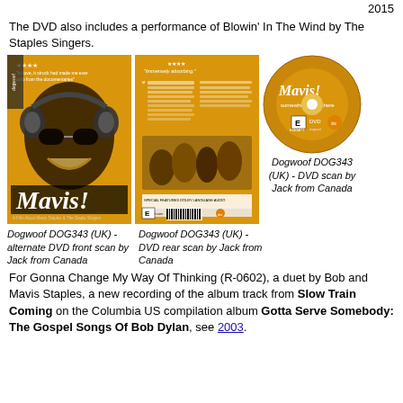2015
The DVD also includes a performance of Blowin' In The Wind by The Staples Singers.
[Figure (photo): Three images of the Mavis! DVD: front cover, rear cover, and disc. Front cover shows a woman with headphones on a yellow background with 'Mavis!' text. Rear cover shows the back of the DVD case. Disc is gold/yellow with 'Mavis!' text.]
Dogwoof DOG343 (UK) - alternate DVD front scan by Jack from Canada
Dogwoof DOG343 (UK) - DVD rear scan by Jack from Canada
Dogwoof DOG343 (UK) - DVD scan by Jack from Canada
For Gonna Change My Way Of Thinking (R-0602), a duet by Bob and Mavis Staples, a new recording of the album track from Slow Train Coming on the Columbia US compilation album Gotta Serve Somebody: The Gospel Songs Of Bob Dylan, see 2003.